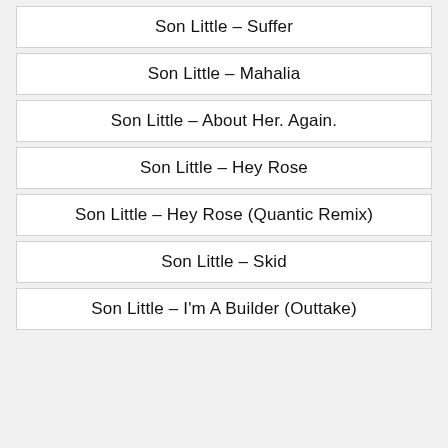Son Little – Suffer
Son Little – Mahalia
Son Little – About Her. Again.
Son Little – Hey Rose
Son Little – Hey Rose (Quantic Remix)
Son Little – Skid
Son Little – I'm A Builder (Outtake)